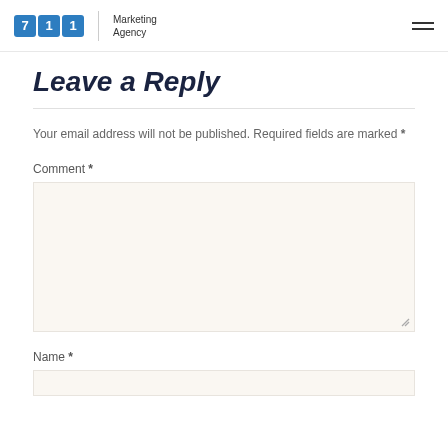711 Marketing Agency
Leave a Reply
Your email address will not be published. Required fields are marked *
Comment *
Name *